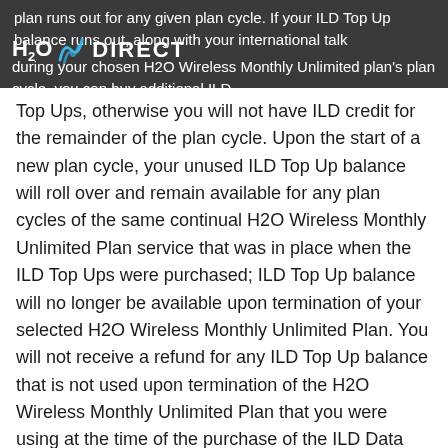H2O DIRECT
plan runs out for any given plan cycle. If your ILD Top Up balance runs out, along with your international talk plan during your chosen H2O Wireless Monthly Unlimited plan's plan cycle, you can buy additional ILD Top Ups, otherwise you will not have ILD credit for the remainder of the plan cycle. Upon the start of a new plan cycle, your unused ILD Top Up balance will roll over and remain available for any plan cycles of the same continual H2O Wireless Monthly Unlimited Plan service that was in place when the ILD Top Ups were purchased; ILD Top Up balance will no longer be available upon termination of your selected H2O Wireless Monthly Unlimited Plan. You will not receive a refund for any ILD Top Up balance that is not used upon termination of the H2O Wireless Monthly Unlimited Plan that you were using at the time of the purchase of the ILD Data Top Up(s). If you change your